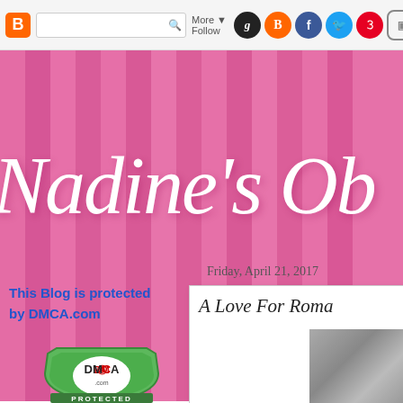[Figure (screenshot): Blog navigation bar with Blogger icon, search box, More/Follow button, and social media icons (Goodreads, Blogger, Facebook, Twitter, Pinterest, Instagram)]
[Figure (screenshot): Pink vertically striped blog banner background with large white cursive script reading 'Nadine's Ob...' (cropped)]
Nadine's Ob
Friday, April 21, 2017
This Blog is protected by DMCA.com
[Figure (logo): DMCA Protected green shield badge with DMCA.com logo]
A Love For Roma
[Figure (photo): Partial grayscale photo visible inside white content box]